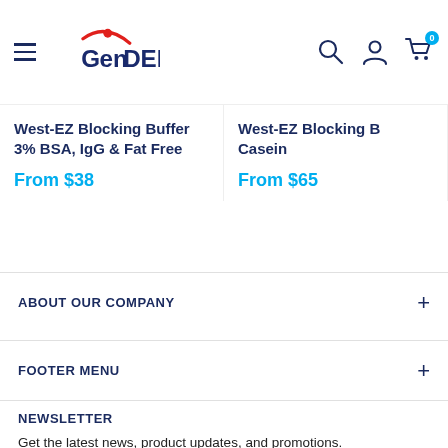[Figure (logo): GenDEPOT logo with red dot above G and navy blue text, with hamburger menu icon on left and search, account, cart icons on right]
West-EZ Blocking Buffer 3% BSA, IgG & Fat Free
From $38
West-EZ Blocking Buffer Casein
From $65
ABOUT OUR COMPANY
FOOTER MENU
NEWSLETTER
Get the latest news, product updates, and promotions.